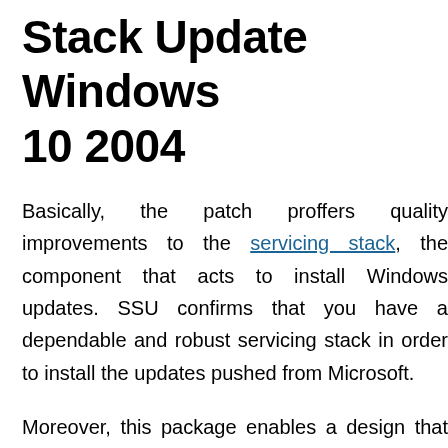Stack Update Windows 10 2004
Basically, the patch proffers quality improvements to the servicing stack, the component that acts to install Windows updates. SSU confirms that you have a dependable and robust servicing stack in order to install the updates pushed from Microsoft.
Moreover, this package enables a design that incorporates the SSU into the LCU. To offer a seamless experience of installation the combination